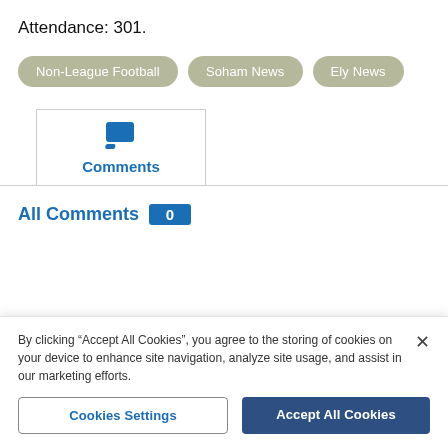Attendance: 301.
Non-League Football
Soham News
Ely News
Comments
All Comments 0
By clicking “Accept All Cookies”, you agree to the storing of cookies on your device to enhance site navigation, analyze site usage, and assist in our marketing efforts.
Cookies Settings
Accept All Cookies